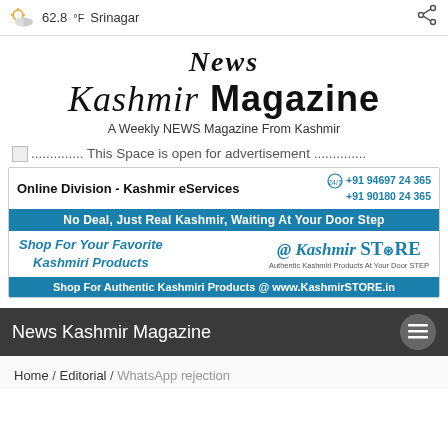62.8°F Srinagar
News Kashmir Magazine
A Weekly NEWS Magazine From Kashmir
.............. This Space is open for advertisement ..............
[Figure (illustration): Kashmir eServices advertisement banner with phone numbers +91 94697 24 365 and +91 90180 24 365, blue strip saying 'No Deal, Just Real Kashmir, Waiting At Your Door Step', shop section for Kashmiri Products at KashmirSTORE, and footer 'Shop For Authentic Kashmiri Products @ www.KashmirSTORE.in']
News Kashmir Magazine
Home / Editorial / WhatsApp rejection